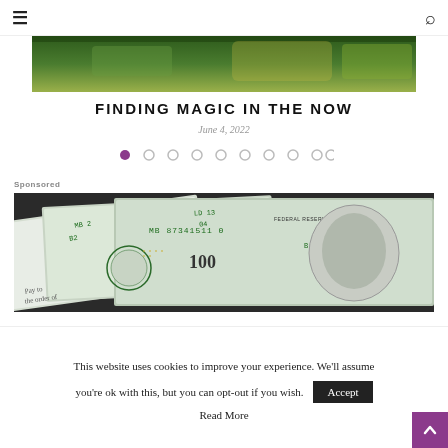☰ [navigation] 🔍 [search]
[Figure (photo): Partial hero image showing green and yellow outdoor scenery, cropped at top]
FINDING MAGIC IN THE NOW
June 4, 2022
[Figure (other): Pagination dots: 10 circles, first one filled purple/magenta, rest empty]
Sponsored
[Figure (photo): Close-up of US dollar bills showing serial numbers, Federal Reserve Note text, MB 87341511 0 B2, Pay to the order of text, and Benjamin Franklin portrait]
This website uses cookies to improve your experience. We'll assume you're ok with this, but you can opt-out if you wish.
Accept
Read More